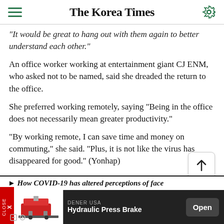The Korea Times
"It would be great to hang out with them again to better understand each other."
An office worker working at entertainment giant CJ ENM, who asked not to be named, said she dreaded the return to the office.
She preferred working remotely, saying "Being in the office does not necessarily mean greater productivity."
"By working remote, I can save time and money on commuting," she said. "Plus, it is not like the virus has disappeared for good." (Yonhap)
How COVID-19 has altered perceptions of face...